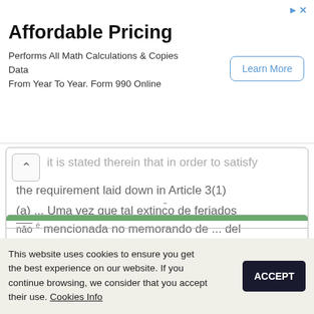[Figure (screenshot): Advertisement banner with title 'Affordable Pricing', body text 'Performs All Math Calculations & Copies Data From Year To Year. Form 990 Online', and a 'Learn More' button]
it is stated therein that in order to satisfy the requirement laid down in Article 3(1) (a) ... Uma vez que tal extinção de feriados não é mencionada no memorando de ... del programma operativo regionale per il Lazio 2007-2013Via R. R. Garibaldi, 7 ... in Mirabella Imbaccari (Catania), Sicily, having been shot by a hunting rifle. It ...
CHECK
This website uses cookies to ensure you get the best experience on our website. If you continue browsing, we consider that you accept their use. Cookies Info